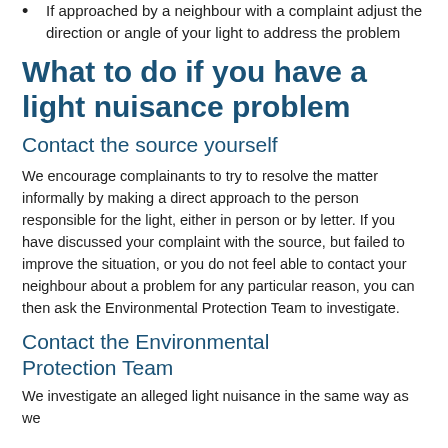If approached by a neighbour with a complaint adjust the direction or angle of your light to address the problem
What to do if you have a light nuisance problem
Contact the source yourself
We encourage complainants to try to resolve the matter informally by making a direct approach to the person responsible for the light, either in person or by letter. If you have discussed your complaint with the source, but failed to improve the situation, or you do not feel able to contact your neighbour about a problem for any particular reason, you can then ask the Environmental Protection Team to investigate.
Contact the Environmental Protection Team
We investigate an alleged light nuisance in the same way as we